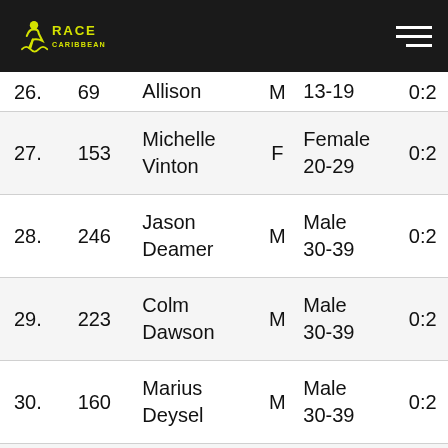Race Caribbean logo and navigation
| Rank | Bib | Name | Gender | Category | Time |
| --- | --- | --- | --- | --- | --- |
| 26. | 69 | Allison | M | 13-19 | 0:2 |
| 27. | 153 | Michelle Vinton | F | Female 20-29 | 0:2 |
| 28. | 246 | Jason Deamer | M | Male 30-39 | 0:2 |
| 29. | 223 | Colm Dawson | M | Male 30-39 | 0:2 |
| 30. | 160 | Marius Deysel | M | Male 30-39 | 0:2 |
| 31. | 145 | Wesley OBrien | M | Male 30-39 | 0:2 |